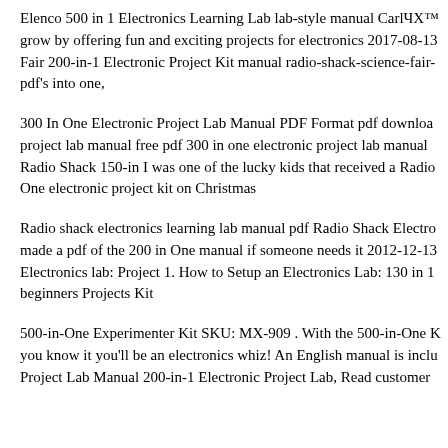Elenco 500 in 1 Electronics Learning Lab lab-style manual CarlвЂ™s grow by offering fun and exciting projects for electronics 2017-08-13 Fair 200-in-1 Electronic Project Kit manual radio-shack-science-fair- pdf's into one,
300 In One Electronic Project Lab Manual PDF Format pdf downloa project lab manual free pdf 300 in one electronic project lab manual Radio Shack 150-in I was one of the lucky kids that received a Radio One electronic project kit on Christmas
Radio shack electronics learning lab manual pdf Radio Shack Electro made a pdf of the 200 in One manual if someone needs it 2012-12-13 Electronics lab: Project 1. How to Setup an Electronics Lab: 130 in 1 beginners Projects Kit
500-in-One Experimenter Kit SKU: MX-909 . With the 500-in-One K you know it you'll be an electronics whiz! An English manual is inclu Project Lab Manual 200-in-1 Electronic Project Lab, Read customer